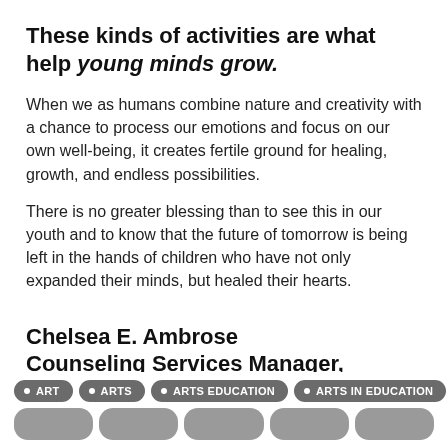These kinds of activities are what help young minds grow.
When we as humans combine nature and creativity with a chance to process our emotions and focus on our own well-being, it creates fertile ground for healing, growth, and endless possibilities.
There is no greater blessing than to see this in our youth and to know that the future of tomorrow is being left in the hands of children who have not only expanded their minds, but healed their hearts.
Chelsea E. Ambrose
Counseling Services Manager, CareFirst
ART
ARTS
ARTS EDUCATION
ARTS IN EDUCATION